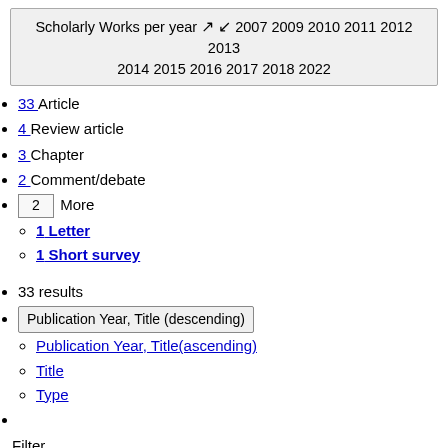Scholarly Works per year ↗ ↙ 2007 2009 2010 2011 2012 2013 2014 2015 2016 2017 2018 2022
33 Article
4 Review article
3 Chapter
2 Comment/debate
2 More
1 Letter
1 Short survey
33 results
Publication Year, Title (descending)
Publication Year, Title(ascending)
Title
Type
Filter
Article
Search results